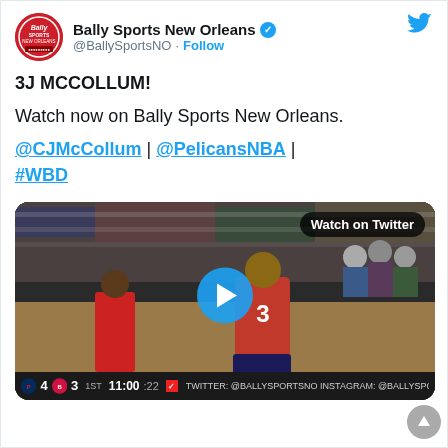[Figure (screenshot): Bally Sports New Orleans Twitter account avatar — red circular logo with 'Bally Sports' text]
Bally Sports New Orleans @BallySportsNO · Follow
3J MCCOLLUM!
Watch now on Bally Sports New Orleans.
@CJMcCollum | @PelicansNBA | #WBD
[Figure (screenshot): Video thumbnail showing NBA player in New Orleans Pelicans jersey on basketball court with crowd in background, with 'Watch on Twitter' pill button and play button overlay. Scoreboard at bottom shows 4-3, 1ST 11:00 :22.]